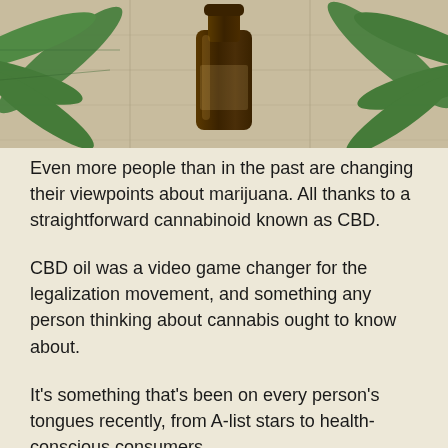[Figure (photo): Photo of a dark amber CBD oil bottle surrounded by green cannabis/hemp leaves on a wooden surface background, cropped to show top portion of the image]
Even more people than in the past are changing their viewpoints about marijuana. All thanks to a straightforward cannabinoid known as CBD.
CBD oil was a video game changer for the legalization movement, and something any person thinking about cannabis ought to know about.
It's something that's been on every person's tongues recently, from A-list stars to health-conscious consumers.
Right here, we offer you with a thorough source to